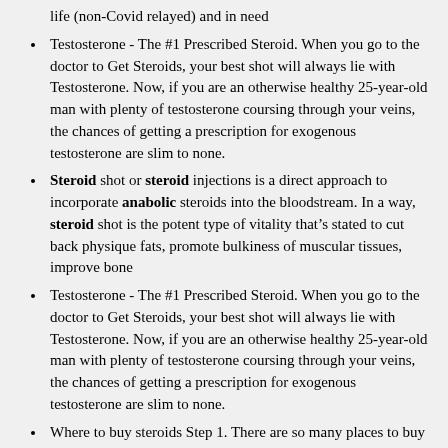life (non-Covid relayed) and in need
Testosterone - The #1 Prescribed Steroid. When you go to the doctor to Get Steroids, your best shot will always lie with Testosterone. Now, if you are an otherwise healthy 25-year-old man with plenty of testosterone coursing through your veins, the chances of getting a prescription for exogenous testosterone are slim to none.
Steroid shot or steroid injections is a direct approach to incorporate anabolic steroids into the bloodstream. In a way, steroid shot is the potent type of vitality that’s stated to cut back physique fats, promote bulkiness of muscular tissues, improve bone
Testosterone - The #1 Prescribed Steroid. When you go to the doctor to Get Steroids, your best shot will always lie with Testosterone. Now, if you are an otherwise healthy 25-year-old man with plenty of testosterone coursing through your veins, the chances of getting a prescription for exogenous testosterone are slim to none.
Where to buy steroids Step 1. There are so many places to buy steroids online its mind boggling. Some are ok, some are a complete scam. What I have found over time is that some may be great one year, then become complete trash the next. What I am sharing is what has worked for me over time, not just short-term.